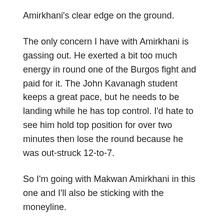Amirkhani's clear edge on the ground.
The only concern I have with Amirkhani is gassing out. He exerted a bit too much energy in round one of the Burgos fight and paid for it. The John Kavanagh student keeps a great pace, but he needs to be landing while he has top control. I'd hate to see him hold top position for over two minutes then lose the round because he was out-struck 12-to-7.
So I'm going with Makwan Amirkhani in this one and I'll also be sticking with the moneyline.
I could easily see a submission or a points victory. My gut says points, but it's far from the comfort level I need to place a bet. For these reasons I pondered taking a double chance, points or submission (-170), but it isn't that much better of a